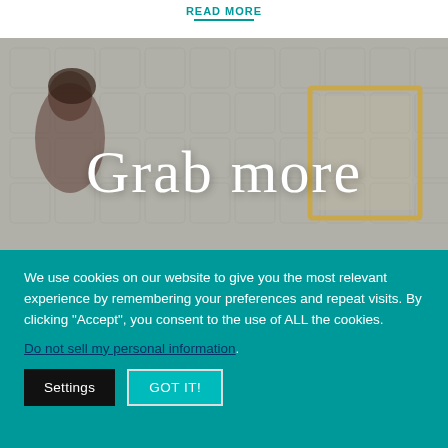READ MORE
[Figure (photo): Background photo of a person with decorative wallpaper and a framed artwork, with cursive text 'Grab more' overlaid in white]
We use cookies on our website to give you the most relevant experience by remembering your preferences and repeat visits. By clicking "Accept", you consent to the use of ALL the cookies.
Do not sell my personal information.
Settings   GOT IT!